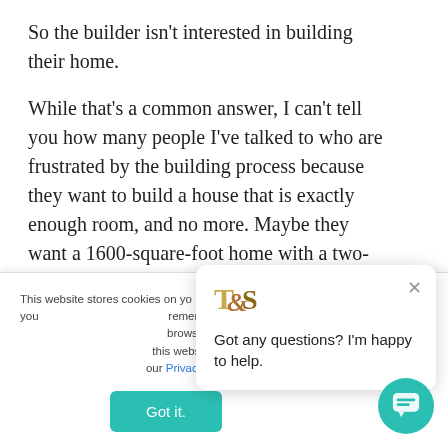So the builder isn't interested in building their home.
While that's a common answer, I can't tell you how many people I've talked to who are frustrated by the building process because they want to build a house that is exactly enough room, and no more. Maybe they want a 1600-square-foot home with a two-car garage (or no garage!) or perhaps they're willing to sacrifice space for the design touches and
This website stores cookies on your computer. We use this information to collect information about how you interact with our website and allow us to remember you. We use this information in order to improve and customize your browsing experience and for analytics and metrics about our visitors both on this website and other media. To find out more about the cookies we use, see our Privacy Policy.
Got it.
Got any questions? I'm happy to help.